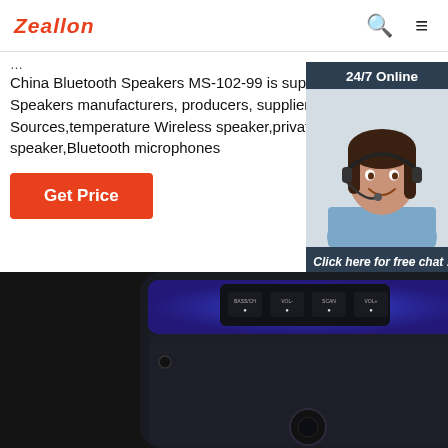Zeallon
...
China Bluetooth Speakers MS-102-99 is supplied by Bluetooth Speakers manufacturers, producers, suppliers on Global Sources,temperature Wireless speaker,private too speaker,Bluetooth microphones
[Figure (photo): Customer service agent with headset, 24/7 Online chat widget with QUOTATION button]
[Figure (photo): Bluetooth speaker MS-102-99 with blue LED lights and control buttons on top panel]